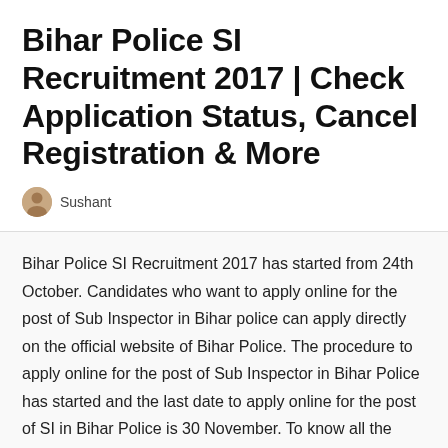Bihar Police SI Recruitment 2017 | Check Application Status, Cancel Registration & More
Sushant
Bihar Police SI Recruitment 2017 has started from 24th October. Candidates who want to apply online for the post of Sub Inspector in Bihar police can apply directly on the official website of Bihar Police. The procedure to apply online for the post of Sub Inspector in Bihar Police has started and the last date to apply online for the post of SI in Bihar Police is 30 November. To know all the details about the Bihar Police SI Recruitment 2017 check the official notification of Bihar Police SI Recruitment 2017.